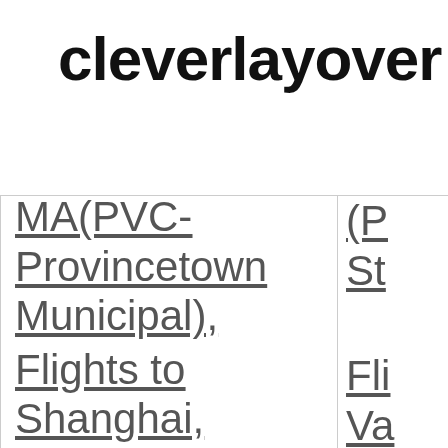cleverlayover
| MA(PVC-Provincetown Municipal), | (P St |
| Flights to Shanghai, China(PVG-Pu | Fli Va (P |